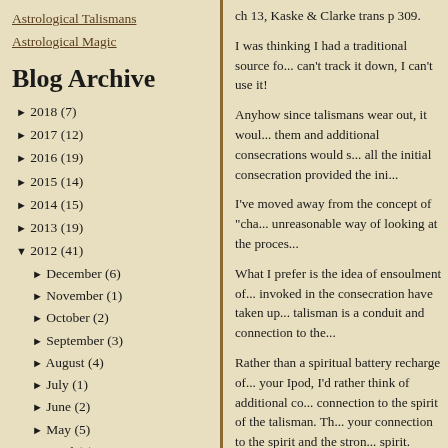Astrological Talismans
Astrological Magic
Blog Archive
► 2018 (7)
► 2017 (12)
► 2016 (19)
► 2015 (14)
► 2014 (15)
► 2013 (19)
▼ 2012 (41)
► December (6)
► November (1)
► October (2)
► September (3)
► August (4)
► July (1)
► June (2)
► May (5)
► April (4)
► March (6)
► February (5)
▼ January (2)
Recharging Talismans?
What's Happening When
ch 13, Kaske & Clarke trans p 309.
I was thinking I had a traditional source fo... can't track it down, I can't use it!
Anyhow since talismans wear out, it woul... them and additional consecrations would s... all the initial consecration provided the ini...
I've moved away from the concept of "cha... unreasonable way of looking at the proces...
What I prefer is the idea of ensoulment of... invoked in the consecration have taken up... talisman is a conduit and connection to the...
Rather than a spiritual battery recharge of... your Ipod, I'd rather think of additional co... connection to the spirit of the talisman. Th... your connection to the spirit and the stron... spirit.
Posted by Christopher Warnock, Esq at 4:43 PM
5 comments:
⊕ J.C. said...